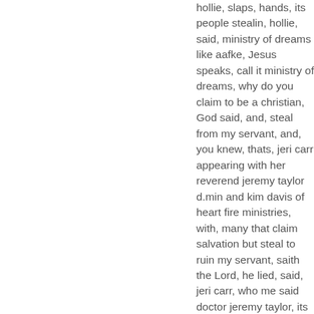hollie, slaps, hands, its people stealin, hollie, said, ministry of dreams like aafke, Jesus speaks, call it ministry of dreams, why do you claim to be a christian, God said, and, steal from my servant, and, you knew, thats, jeri carr appearing with her reverend jeremy taylor d.min and kim davis of heart fire ministries, with, many that claim salvation but steal to ruin my servant, saith the Lord, he lied, said, jeri carr, who me said doctor jeremy taylor, its bobs said rev. jeremy taylor, thats ph.d. jeremy taylor m.a. stealing ministry of dreams and now kathy taylor has s.t.d. jeremy